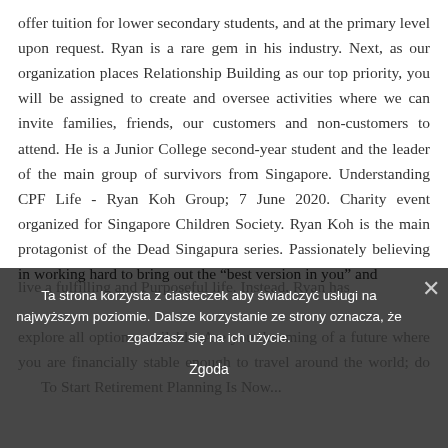offer tuition for lower secondary students, and at the primary level upon request. Ryan is a rare gem in his industry. Next, as our organization places Relationship Building as our top priority, you will be assigned to create and oversee activities where we can invite families, friends, our customers and non-customers to attend. He is a Junior College second-year student and the leader of the main group of survivors from Singapore. Understanding CPF Life - Ryan Koh Group; 7 June 2020. Charity event organized for Singapore Children Society. Ryan Koh is the main protagonist of the Dead Singapura series. Passionately believing in working hard to bring out the “best version in you” and
live a fulfilling and Purposeful life. Instead, Ryan has
explore all options available. Are you dreaming of a future where you are financially stable enough to travel around the world; do ... To Start Retirement Planning Is Now...
Ta strona korzysta z ciasteczek aby świadczyć usługi na najwyższym poziomie. Dalsze korzystanie ze strony oznacza, że zgadzasz się na ich użycie.
Zgoda